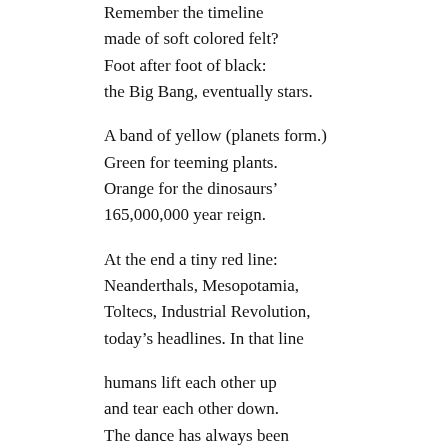Remember the timeline
made of soft colored felt?
Foot after foot of black:
the Big Bang, eventually stars.

A band of yellow (planets form.)
Green for teeming plants.
Orange for the dinosaurs'
165,000,000 year reign.

At the end a tiny red line:
Neanderthals, Mesopotamia,
Toltecs, Industrial Revolution,
today's headlines. In that line

humans lift each other up
and tear each other down.
The dance has always been
two steps forward, one step back.

The arc of the universe doesn't
bend toward anything
unless we push and pull,
coax and cajole. Don't stop.